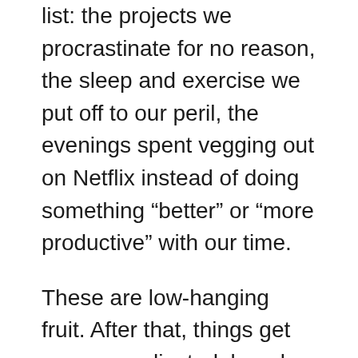list: the projects we procrastinate for no reason, the sleep and exercise we put off to our peril, the evenings spent vegging out on Netflix instead of doing something “better” or “more productive” with our time.
These are low-hanging fruit. After that, things get more complicated, largely because we tend to have vague and half-formed concepts of what it even means to do something “better” with our time. For example: Should I read more books instead of watching Netflix? Maybe, but reading in itself will not make me more virtuous or holy. An avid bibliophile myself, I easily get so caught up in reading material that I almost